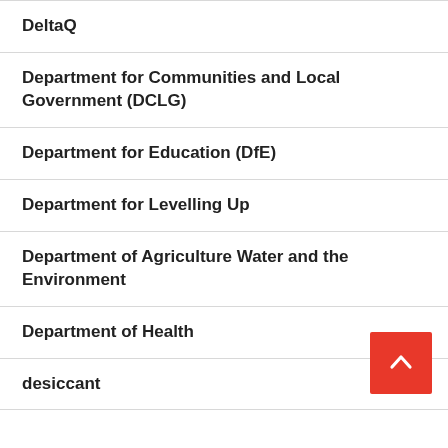DeltaQ
Department for Communities and Local Government (DCLG)
Department for Education (DfE)
Department for Levelling Up
Department of Agriculture Water and the Environment
Department of Health
desiccant